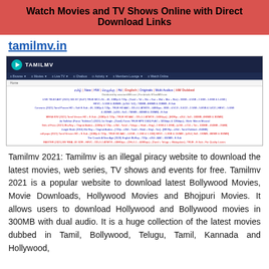Watch Movies and TV Shows Online with Direct Download Links
tamilmv.in
[Figure (screenshot): Screenshot of the TamilMV website showing the logo, navigation bar with Browse, Movies, Live TV, Chatbox, Activity, Members Lounge, Watch Online links, and a list of movie download links in various formats and qualities.]
Tamilmv 2021: Tamilmv is an illegal piracy website to download the latest movies, web series, TV shows and events for free. Tamilmv 2021 is a popular website to download latest Bollywood Movies, Movie Downloads, Hollywood Movies and Bhojpuri Movies. It allows users to download Hollywood and Bollywood movies in 300MB with dual audio. It is a huge collection of the latest movies dubbed in Tamil, Bollywood, Telugu, Tamil, Kannada and Hollywood,